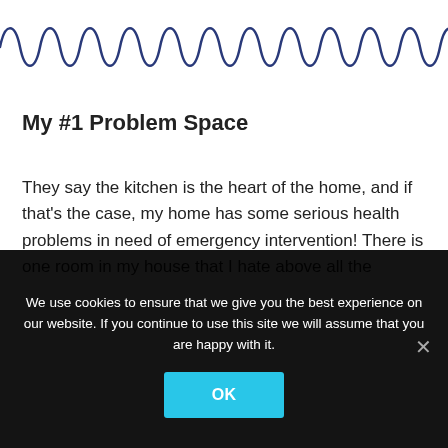[Figure (illustration): Decorative squiggly/looping line border in dark blue/navy color spanning the full width of the page]
My #1 Problem Space
They say the kitchen is the heart of the home, and if that's the case, my home has some serious health problems in need of emergency intervention! There is one room in my house that I hate above all the
We use cookies to ensure that we give you the best experience on our website. If you continue to use this site we will assume that you are happy with it.